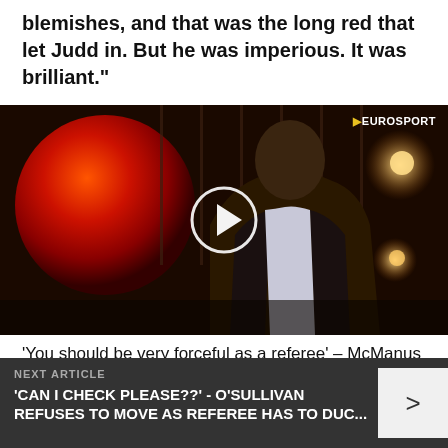blemishes, and that was the long red that let Judd in. But he was imperious. It was brilliant."
[Figure (photo): Video thumbnail showing a man in a suit on a dark studio set with a red ball visible, Eurosport branding, with a play button overlay.]
'You should be very forceful as a referee' – McManus
NEXT ARTICLE
'CAN I CHECK PLEASE??' - O'SULLIVAN REFUSES TO MOVE AS REFEREE HAS TO DUC...